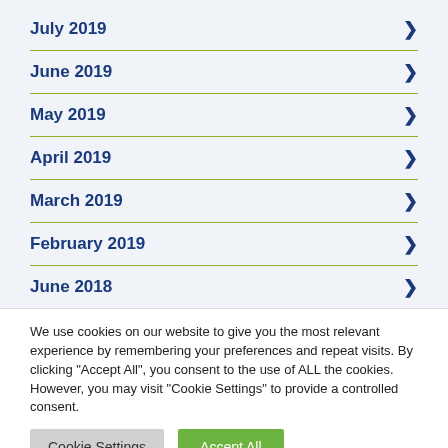July 2019
June 2019
May 2019
April 2019
March 2019
February 2019
June 2018
We use cookies on our website to give you the most relevant experience by remembering your preferences and repeat visits. By clicking "Accept All", you consent to the use of ALL the cookies. However, you may visit "Cookie Settings" to provide a controlled consent.